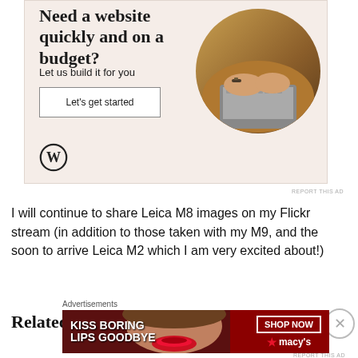[Figure (photo): WordPress advertisement: 'Need a website quickly and on a budget? Let us build it for you.' with a Let's get started button, WordPress logo, and a circular photo of hands typing on a laptop.]
I will continue to share Leica M8 images on my Flickr stream (in addition to those taken with my M9, and the soon to arrive Leica M2 which I am very excited about!)
Related Posts / Links
[Figure (photo): Macy's advertisement: 'KISS BORING LIPS GOODBYE' with SHOP NOW button and Macy's star logo, featuring a photo of a woman's lips.]